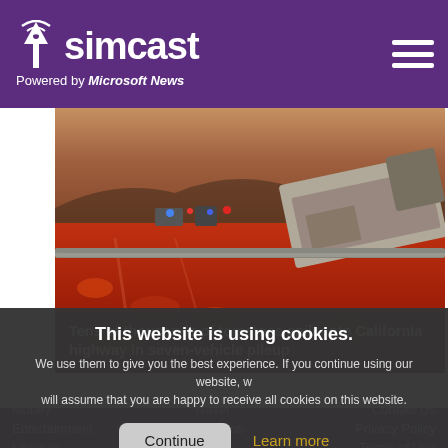simcast — Powered by Microsoft News
[Figure (photo): Overturned truck on a California highway with tens of thousands of tomatoes spilled across the road, emergency vehicles with lights visible in background, evening/dusk sky]
Tens of thousands of tomatoes spill onto California highway in seven-vehicle pileup
This website is using cookies. We use them to give you the best experience. If you continue using our website, we will assume that you are happy to receive all cookies on this website.
Continue | Learn more
Money | Travel | Contact Us | Entertainment | Videos | Privacy Policy | Lifestyle | Sports | Terms of Use